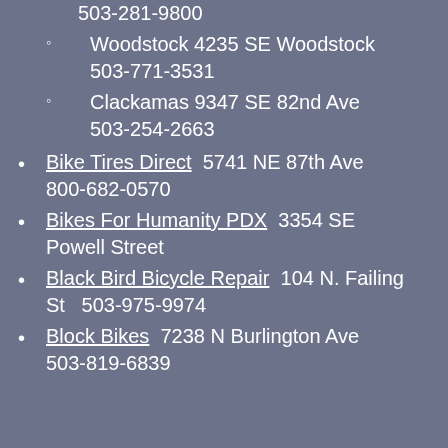503-281-9800
Woodstock 4235 SE Woodstock 503-771-3531
Clackamas 9347 SE 82nd Ave 503-254-2663
Bike Tires Direct  5741 NE 87th Ave 800-682-0570
Bikes For Humanity PDX  3354 SE Powell Street
Black Bird Bicycle Repair  104 N. Failing St   503-975-9974
Block Bikes  7238 N Burlington Ave 503-819-6839